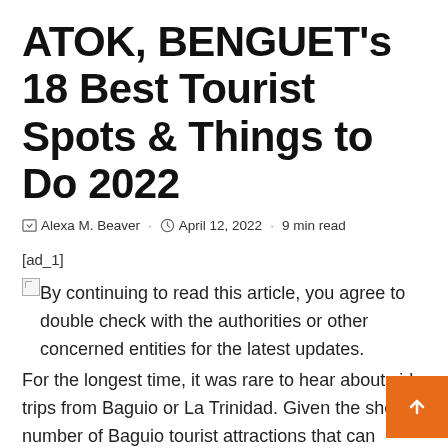ATOK, BENGUET's 18 Best Tourist Spots & Things to Do 2022
Alexa M. Beaver · April 12, 2022 · 9 min read
[ad_1]
By continuing to read this article, you agree to double check with the authorities or other concerned entities for the latest updates.
For the longest time, it was rare to hear about side trips from Baguio or La Trinidad. Given the sheer number of Baguio tourist attractions that can easily fill any g traveler's itinerary, it was difficult to imagine needi go out in search for more places to visit. Along came Atok.